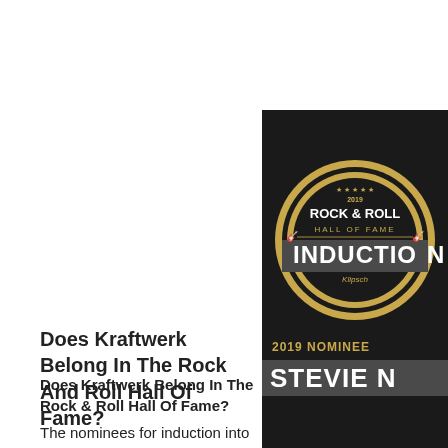[Figure (photo): Rock and Roll Hall of Fame Induction Ceremony promotional image showing the gold badge logo and '2019 NOMINEE STEVIE N...' text on dark background]
Kraftwerk, Dev... Of Fame
Does Kraftwerk Belong In The Rock And Roll Hall Of Fame?
Does Kraftwerk Belong In The Rock & Roll Hall Of Fame?
The nominees for induction into the Rock and